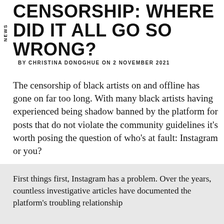NEWS
CENSORSHIP: WHERE DID IT ALL GO SO WRONG?
BY CHRISTINA DONOGHUE ON 2 NOVEMBER 2021
The censorship of black artists on and offline has gone on far too long. With many black artists having experienced being shadow banned by the platform for posts that do not violate the community guidelines it's worth posing the question of who's at fault: Instagram or you?
First things first, Instagram has a problem. Over the years, countless investigative articles have documented the platform's troubling relationship